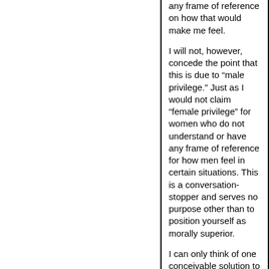any frame of reference on how that would make me feel.
I will not, however, concede the point that this is due to “male privilege.” Just as I would not claim “female privilege” for women who do not understand or have any frame of reference for how men feel in certain situations. This is a conversation-stopper and serves no purpose other than to position yourself as morally superior.
I can only think of one conceivable solution to the problem, and I am open to suggestions.
Anyone at the receiving end of or a witness to such obviously bad social behavior (man or woman), should not hesitate to shame the person/people engaging in such behavior. Do not stand by and allow yourself or other people to be bullied. People